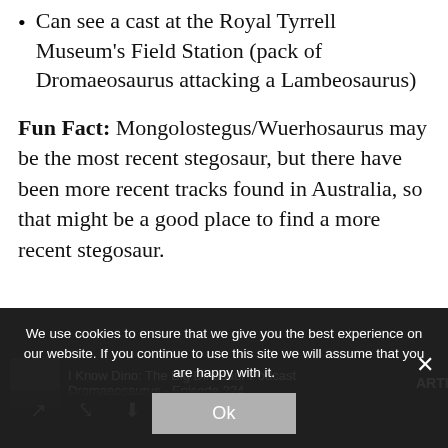Can see a cast at the Royal Tyrrell Museum's Field Station (pack of Dromaeosaurus attacking a Lambeosaurus)
Fun Fact: Mongolostegus/Wuerhosaurus may be the most recent stegosaur, but there have been more recent tracks found in Australia, so that might be a good place to find a more recent stegosaur.
We use cookies to ensure that we give you the best experience on our website. If you continue to use this site we will assume that you are happy with it.
I Know Dino: The Big Dinosaur Podcast
Dromaeosaurus - Episode 224